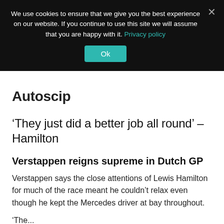We use cookies to ensure that we give you the best experience on our website. If you continue to use this site we will assume that you are happy with it. Privacy policy
Ok
Autoscip
‘They just did a better job all round’ – Hamilton
Verstappen reigns supreme in Dutch GP
Verstappen says the close attentions of Lewis Hamilton for much of the race meant he couldn’t relax even though he kept the Mercedes driver at bay throughout.
‘The...